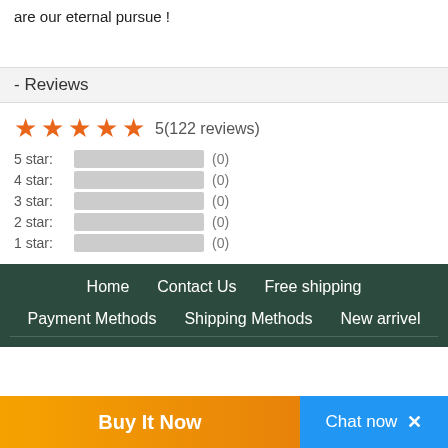are our eternal pursue !
- Reviews
[Figure (infographic): Star rating display: 5 orange stars with text '5(122 reviews)' and rating breakdown bars for 5 star through 1 star, all showing (0)]
Home   Contact Us   Free shipping   Payment Methods   Shipping Methods   New arrivel
Buy It Now
Chat now  ×